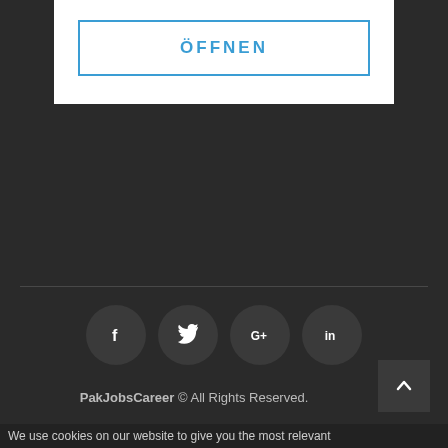[Figure (screenshot): A white card/modal area at the top with a blue-outlined button labeled ÖFFNEN]
ÖFFNEN
[Figure (infographic): Four social media icon circles: Facebook (f), Twitter (bird), Google+ (G+), LinkedIn (in) on dark background]
PakJobsCareer © All Rights Reserved.
We use cookies on our website to give you the most relevant